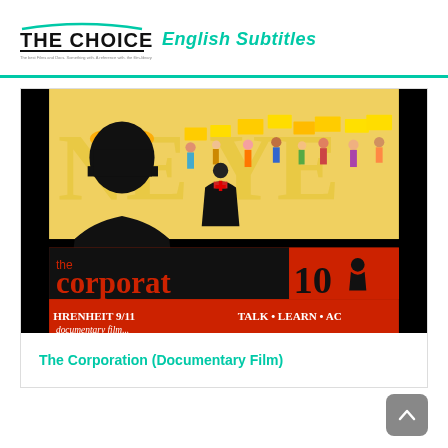THE CHOICE  English Subtitles
[Figure (illustration): Movie poster for 'The Corporation' documentary film, showing silhouette of a businessman with halo, crowd of protesters with signs, text reading 'the Corporation 10', 'FAHRENHEIT 9/11', 'TALK • LEARN • AC']
The Corporation (Documentary Film)